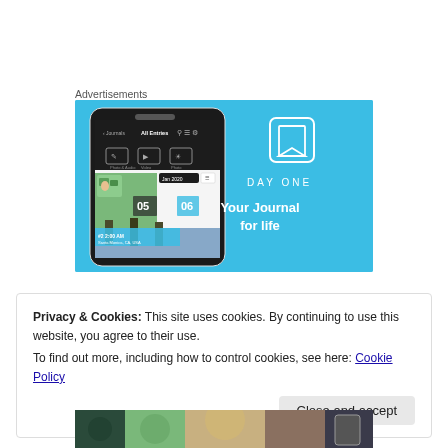Advertisements
[Figure (illustration): DayOne app advertisement banner on light blue background showing a phone mockup with journal app interface on left, and DayOne logo with tagline 'Your Journal for life' on right]
Privacy & Cookies: This site uses cookies. By continuing to use this website, you agree to their use.
To find out more, including how to control cookies, see here: Cookie Policy
Close and accept
[Figure (photo): Partial bottom strip showing colorful image]